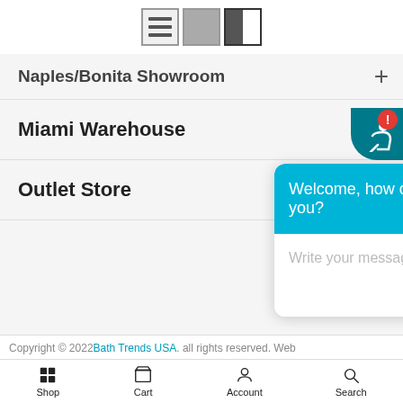[Figure (screenshot): Toolbar with three layout toggle icons: list view, grid view, and split view (active/selected)]
Naples/Bonita Showroom
Miami Warehouse
Outlet Store
Copyright © 2022 Bath Trends USA. all rights reserved. Web
[Figure (screenshot): Chat widget with header 'Welcome, how can we help you?' and message input field 'Write your message...']
Shop   Cart   Account   Search